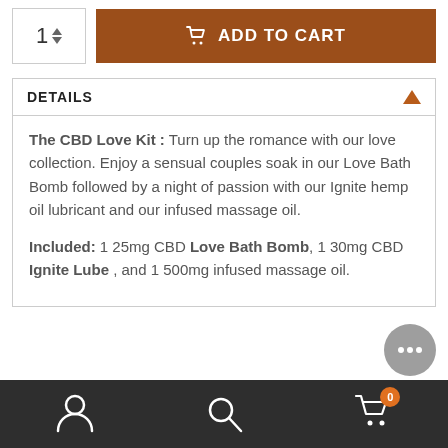[Figure (screenshot): Quantity selector showing '1' with up/down arrows, and an 'ADD TO CART' button with a cart icon on a brown/orange background]
DETAILS
The CBD Love Kit : Turn up the romance with our love collection. Enjoy a sensual couples soak in our Love Bath Bomb followed by a night of passion with our Ignite hemp oil lubricant and our infused massage oil.
Included: 1 25mg CBD Love Bath Bomb, 1 30mg CBD Ignite Lube , and 1 500mg infused massage oil.
[Figure (screenshot): Bottom navigation bar with user/account icon, search icon, and cart icon with badge showing 0]